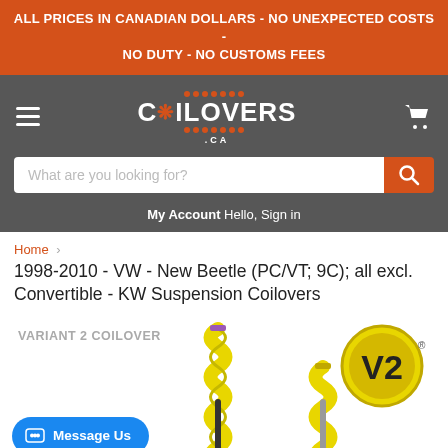ALL PRICES IN CANADIAN DOLLARS - NO UNEXPECTED COSTS - NO DUTY - NO CUSTOMS FEES
[Figure (logo): Coilovers.ca logo with hamburger menu and cart icon on dark grey navigation bar with search field]
My Account Hello, Sign in
Home › 1998-2010 - VW - New Beetle (PC/VT; 9C); all excl. Convertible - KW Suspension Coilovers
[Figure (photo): Variant 2 Coilover product image showing yellow coilover springs and V2 badge logo]